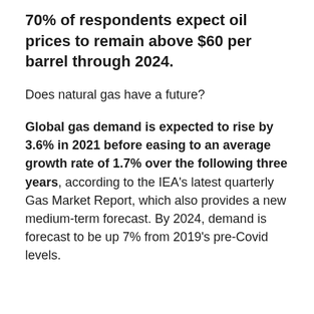70% of respondents expect oil prices to remain above $60 per barrel through 2024.
Does natural gas have a future?
Global gas demand is expected to rise by 3.6% in 2021 before easing to an average growth rate of 1.7% over the following three years, according to the IEA's latest quarterly Gas Market Report, which also provides a new medium-term forecast. By 2024, demand is forecast to be up 7% from 2019's pre-Covid levels.